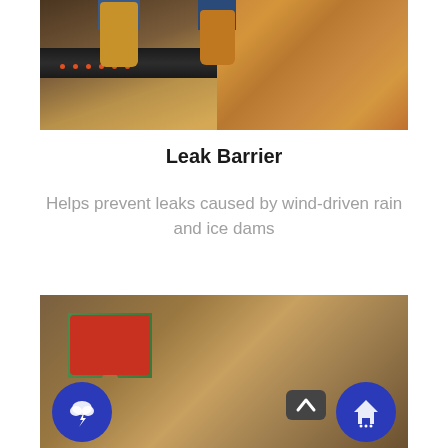[Figure (photo): Worker installing roofing leak barrier on wood decking, viewed from above showing boots on dark barrier strip with orange nails]
Leak Barrier
Helps prevent leaks caused by wind-driven rain and ice dams
[Figure (photo): Worker on roof installing barrier material with tool, wearing red shirt and green vest, with storm and house icon buttons visible]